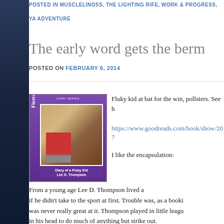POSTED IN MUSCLELINOSS, THE LIGHTING RIFE, WORK & PROGRESS, YA ADVENTURE
The early word gets the berm
POSTED ON FEBRUARY 6, 2014
[Figure (photo): Book cover for 'Diary of a Fluky Kid' by Lee D. Thompson, published under the Fierce Shorts series, with a purple cover showing a child playing baseball]
Fluky kid at bat for the win, pollsters. See h
https://www.goodreads.com/book/show/207
I like the encapsulation:
From a young age Lee D. Thompson lived a if he didn't take to the sport at first. Trouble was, as a booki was never really great at it. Thompson played in little leagu in his head to do much of anything but strike out.